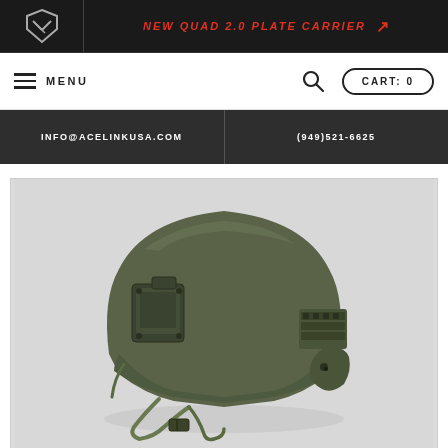NEW QUAD 2.0 PLATE CARRIER
MENU
CART: 0
INFO@ACELINKUSA.COM
(949)521-6625
[Figure (photo): Olive drab military tactical helmet (MICH/ACH style) with NVG mount bracket on front, side rails, and chin strap system, photographed on light gray background]